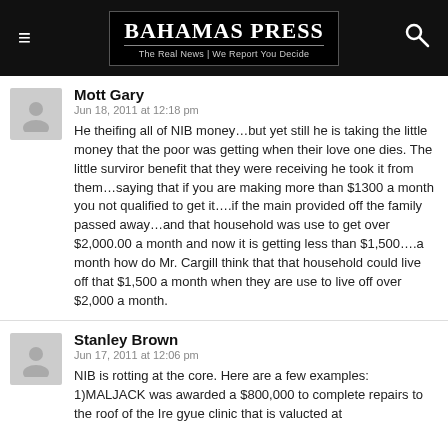Bahamas Press — The Real News | We Report You Decide
Mott Gary
Jun 18, 2011 at 12:18 pm
He theifing all of NIB money…but yet still he is taking the little money that the poor was getting when their love one dies. The little surviror benefit that they were receiving he took it from them…saying that if you are making more than $1300 a month you not qualified to get it….if the main provided off the family passed away…and that household was use to get over $2,000.00 a month and now it is getting less than $1,500….a month how do Mr. Cargill think that that household could live off that $1,500 a month when they are use to live off over $2,000 a month.
Stanley Brown
Jun 17, 2011 at 12:06 pm
NIB is rotting at the core. Here are a few examples: 1)MALJACK was awarded a $800,000 to complete repairs to the roof of the Ire gyue clinic that is valucted at...